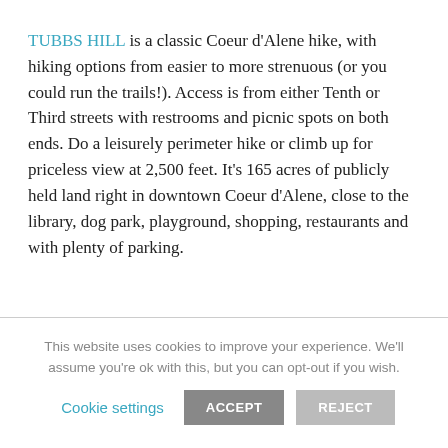TUBBS HILL is a classic Coeur d'Alene hike, with hiking options from easier to more strenuous (or you could run the trails!). Access is from either Tenth or Third streets with restrooms and picnic spots on both ends. Do a leisurely perimeter hike or climb up for priceless view at 2,500 feet. It's 165 acres of publicly held land right in downtown Coeur d'Alene, close to the library, dog park, playground, shopping, restaurants and with plenty of parking.
This website uses cookies to improve your experience. We'll assume you're ok with this, but you can opt-out if you wish.
Cookie settings   ACCEPT   REJECT